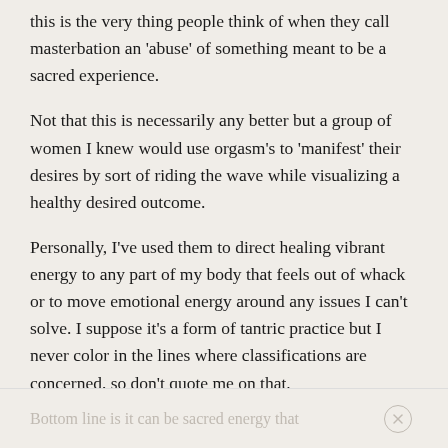this is the very thing people think of when they call masterbation an 'abuse' of something meant to be a sacred experience.
Not that this is necessarily any better but a group of women I knew would use orgasm's to 'manifest' their desires by sort of riding the wave while visualizing a healthy desired outcome.
Personally, I've used them to direct healing vibrant energy to any part of my body that feels out of whack or to move emotional energy around any issues I can't solve. I suppose it's a form of tantric practice but I never color in the lines where classifications are concerned, so don't quote me on that.
Bottom line is it can be sacred energy that